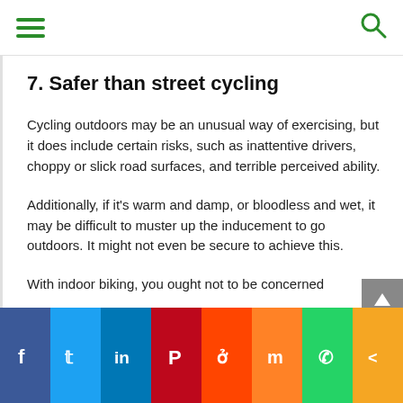Navigation bar with hamburger menu and search icon
7. Safer than street cycling
Cycling outdoors may be an unusual way of exercising, but it does include certain risks, such as inattentive drivers, choppy or slick road surfaces, and terrible perceived ability.
Additionally, if it's warm and damp, or bloodless and wet, it may be difficult to muster up the inducement to go outdoors. It might not even be secure to achieve this.
With indoor biking, you ought not to be concerned
Social share bar: Facebook, Twitter, LinkedIn, Pinterest, Reddit, Mix, WhatsApp, Share